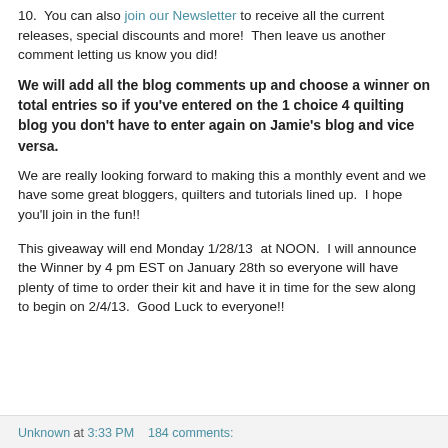10.  You can also join our Newsletter to receive all the current releases, special discounts and more!  Then leave us another comment letting us know you did!
We will add all the blog comments up and choose a winner on total entries so if you've entered on the 1 choice 4 quilting blog you don't have to enter again on Jamie's blog and vice versa.
We are really looking forward to making this a monthly event and we have some great bloggers, quilters and tutorials lined up.  I hope you'll join in the fun!!
This giveaway will end Monday 1/28/13  at NOON.  I will announce the Winner by 4 pm EST on January 28th so everyone will have plenty of time to order their kit and have it in time for the sew along to begin on 2/4/13.  Good Luck to everyone!!
Unknown at 3:33 PM    184 comments: